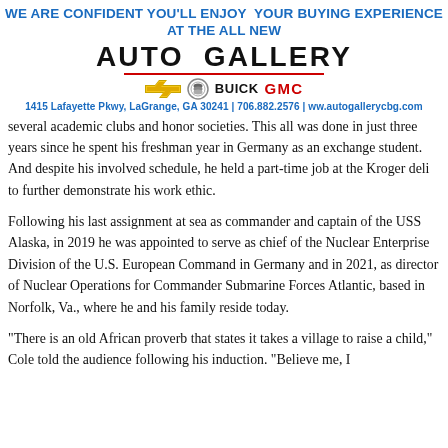WE ARE CONFIDENT YOU'LL ENJOY YOUR BUYING EXPERIENCE AT THE ALL NEW AUTO GALLERY | 1415 Lafayette Pkwy, LaGrange, GA 30241 | 706.882.2576 | ww.autogallerycbg.com
several academic clubs and honor societies. This all was done in just three years since he spent his freshman year in Germany as an exchange student. And despite his involved schedule, he held a part-time job at the Kroger deli to further demonstrate his work ethic.
Following his last assignment at sea as commander and captain of the USS Alaska, in 2019 he was appointed to serve as chief of the Nuclear Enterprise Division of the U.S. European Command in Germany and in 2021, as director of Nuclear Operations for Commander Submarine Forces Atlantic, based in Norfolk, Va., where he and his family reside today.
“There is an old African proverb that states it takes a village to raise a child,” Cole told the audience following his induction. “Believe me, I